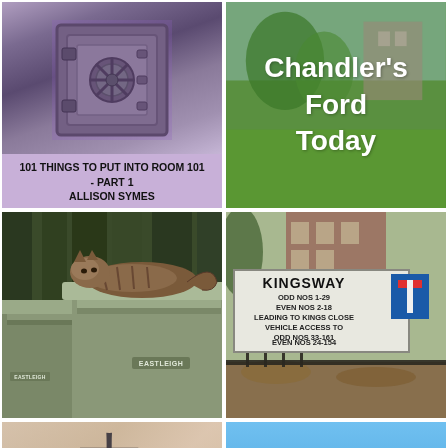[Figure (photo): Bank vault door open, purple-tinted image]
101 THINGS TO PUT INTO ROOM 101 - PART 1
ALLISON SYMES
[Figure (photo): Green outdoor area with buildings, overlay text reading Chandler's Ford Today]
[Figure (photo): Tabby cat lying on top of a green Eastleigh recycling bin]
[Figure (photo): Street sign reading KINGSWAY with address details, T-junction road sign]
[Figure (photo): Partial image showing a tattoo character on skin]
[Figure (photo): Partial image with blue background and Upcoming text]